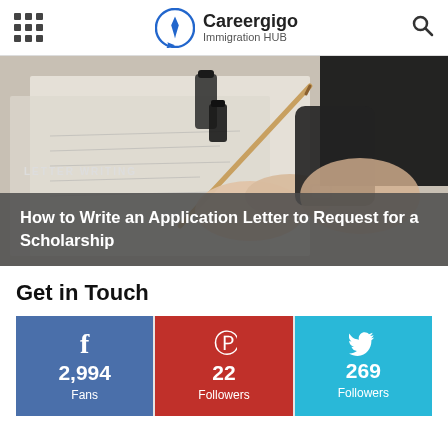Careergigo Immigration HUB
[Figure (photo): Person writing with a calligraphy pen on paper, with ink bottles nearby. Header image for an article about letter writing.]
LETTER WRITING
How to Write an Application Letter to Request for a Scholarship
Get in Touch
[Figure (infographic): Social media follower counts: Facebook 2,994 Fans, Pinterest 22 Followers, Twitter 269 Followers]